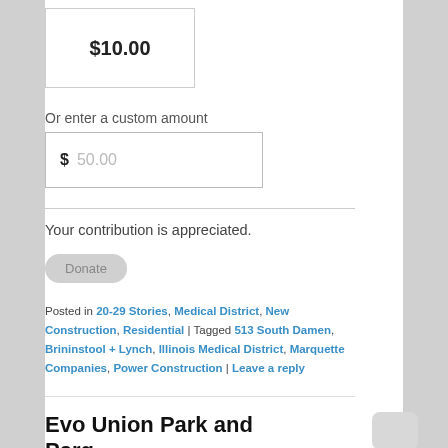$10.00
Or enter a custom amount
$ 50.00
Your contribution is appreciated.
Donate
Posted in 20-29 Stories, Medical District, New Construction, Residential | Tagged 513 South Damen, Brininstool + Lynch, Illinois Medical District, Marquette Companies, Power Construction | Leave a reply
Evo Union Park and Parq